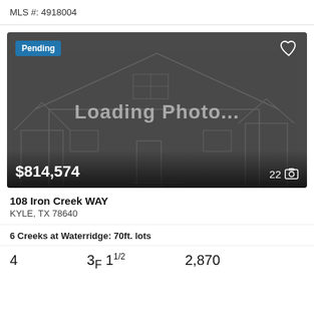MLS #: 4918004
[Figure (photo): Real estate listing card with a dark placeholder image showing a house outline and 'Loading Photo...' text, price $814,574, 22 photos, Pending badge]
108 Iron Creek WAY
KYLE, TX 78640
6 Creeks at Waterridge: 70ft. lots
4   3F 11/2   2,870